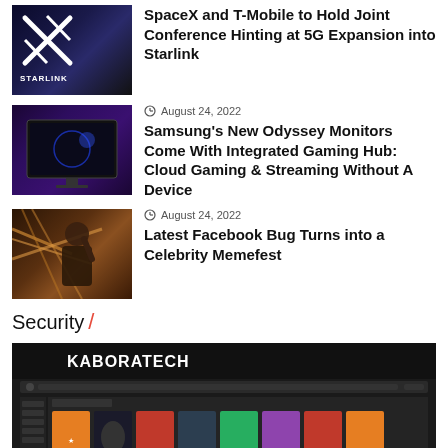[Figure (photo): Starlink logo with person in background, dark blue]
SpaceX and T-Mobile to Hold Joint Conference Hinting at 5G Expansion into Starlink
[Figure (photo): Samsung Odyssey monitor in purple/dark lighting]
August 24, 2022
Samsung's New Odyssey Monitors Come With Integrated Gaming Hub: Cloud Gaming & Streaming Without A Device
[Figure (photo): Person working with cables, tech background, warm tones]
August 24, 2022
Latest Facebook Bug Turns into a Celebrity Memefest
Security /
[Figure (screenshot): Kaboratech website screenshot showing dark media streaming interface with movie posters]